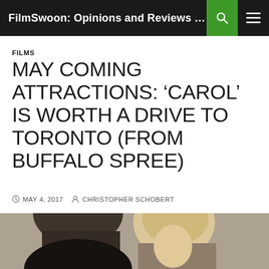FilmSwoon: Opinions and Reviews From ...
FILMS
MAY COMING ATTRACTIONS: ‘CAROL’ IS WORTH A DRIVE TO TORONTO (FROM BUFFALO SPREE)
MAY 4, 2017   CHRISTOPHER SCHOBERT
[Figure (photo): Photo of two people, a dark-haired person on the left and a blonde person on the right, in a muted indoor setting]